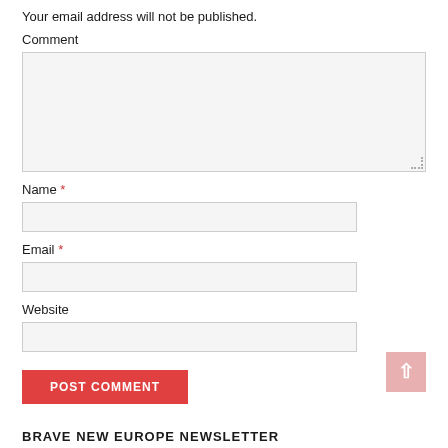Your email address will not be published.
Comment
Name *
Email *
Website
POST COMMENT
BRAVE NEW EUROPE NEWSLETTER